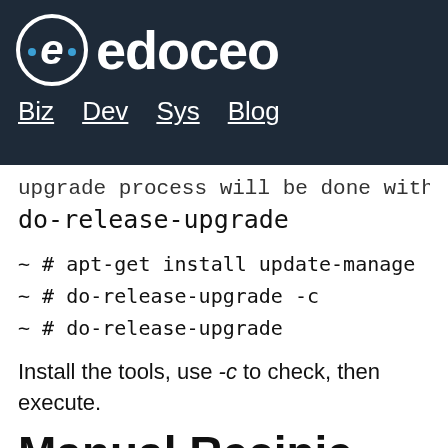edoceo — Biz Dev Sys Blog
upgrade process will be done with do-release-upgrade
~ # apt-get install update-manage
~ # do-release-upgrade -c
~ # do-release-upgrade
Install the tools, use -c to check, then execute.
Manual Recipie